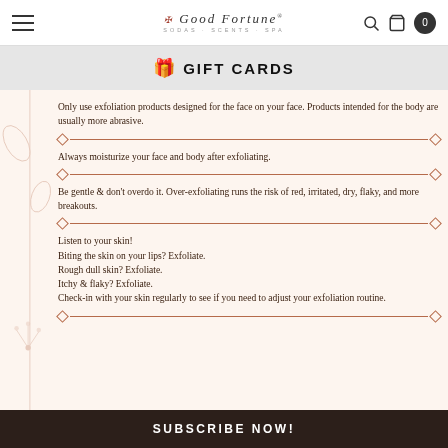Good Fortune · SODAS · SCENTS · SPA
🎁 GIFT CARDS
Only use exfoliation products designed for the face on your face. Products intended for the body are usually more abrasive.
Always moisturize your face and body after exfoliating.
Be gentle & don't overdo it. Over-exfoliating runs the risk of red, irritated, dry, flaky, and more breakouts.
Listen to your skin! Biting the skin on your lips? Exfoliate. Rough dull skin? Exfoliate. Itchy & flaky? Exfoliate. Check-in with your skin regularly to see if you need to adjust your exfoliation routine.
SUBSCRIBE NOW!